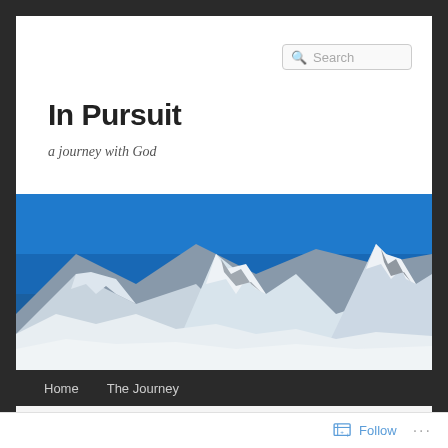Search
In Pursuit
a journey with God
[Figure (photo): Panoramic photo of snow-capped mountain peaks (likely Himalayas including Everest) against a deep blue sky, with rocky and snow-covered slopes.]
Home    The Journey
CATEGORY ARCHIVES: INTIMACY